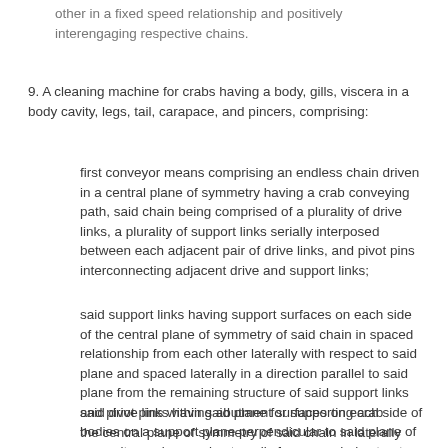other in a fixed speed relationship and positively interengaging respective chains.
9. A cleaning machine for crabs having a body, gills, viscera in a body cavity, legs, tail, carapace, and pincers, comprising:
first conveyor means comprising an endless chain driven in a central plane of symmetry having a crab conveying path, said chain being comprised of a plurality of drive links, a plurality of support links serially interposed between each adjacent pair of drive links, and pivot pins interconnecting adjacent drive and support links;
said support links having support surfaces on each side of the central plane of symmetry of said chain in spaced relationship from each other laterally with respect to said plane and spaced laterally in a direction parallel to said plane from the remaining structure of said support links and pivot pins within said plane for supporting crab bodies on a support plane perpendicular to said plane of symmetry and spaced outwardly from any chain structure in said plane of symmetry;
said drive links having abutment surfaces on each side of the central plane of symmetry of said chain in laterally spaced